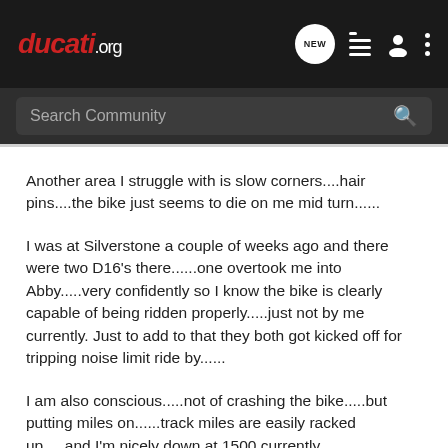ducati.org
Search Community
Another area I struggle with is slow corners....hair pins....the bike just seems to die on me mid turn......
I was at Silverstone a couple of weeks ago and there were two D16's there......one overtook me into Abby.....very confidently so I know the bike is clearly capable of being ridden properly.....just not by me currently. Just to add to that they both got kicked off for tripping noise limit ride by......
I am also conscious.....not of crashing the bike.....but putting miles on......track miles are easily racked up.....and I'm nicely down at 1500 currently.
This all sounds quite negative.....but....through sweeping fast